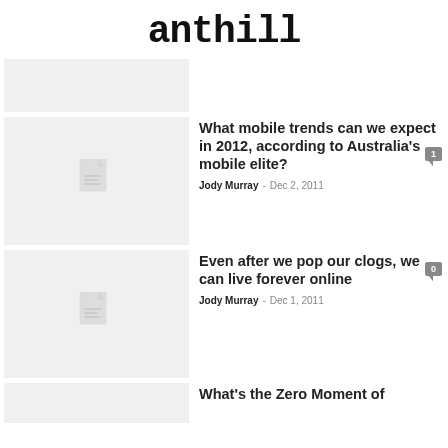anthill
[Figure (other): Gray thumbnail placeholder image, top article]
[Figure (other): Gray thumbnail placeholder with document icon]
What mobile trends can we expect in 2012, according to Australia's mobile elite?
Jody Murray - Dec 2, 2011
[Figure (other): Gray thumbnail placeholder with document icon]
Even after we pop our clogs, we can live forever online
Jody Murray - Dec 1, 2011
[Figure (other): Gray thumbnail placeholder, partial bottom row]
What's the Zero Moment of